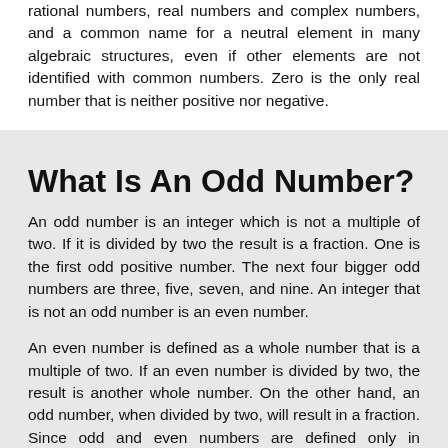rational numbers, real numbers and complex numbers, and a common name for a neutral element in many algebraic structures, even if other elements are not identified with common numbers. Zero is the only real number that is neither positive nor negative.
What Is An Odd Number?
An odd number is an integer which is not a multiple of two. If it is divided by two the result is a fraction. One is the first odd positive number. The next four bigger odd numbers are three, five, seven, and nine. An integer that is not an odd number is an even number.
An even number is defined as a whole number that is a multiple of two. If an even number is divided by two, the result is another whole number. On the other hand, an odd number, when divided by two, will result in a fraction. Since odd and even numbers are defined only in reference to the set of integers (..., -3, -2, -1, 0, 1, 2, 3, ...), all negative numbers can also be either odd or even.